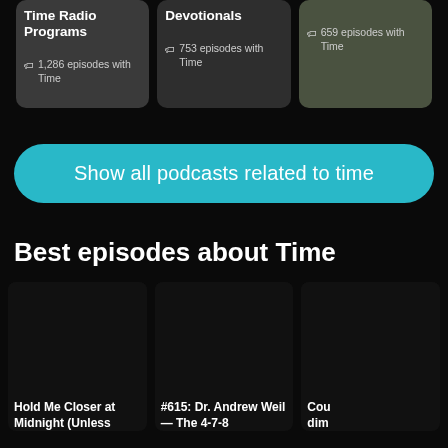[Figure (screenshot): Three podcast category cards: 'Time Radio Programs' with 1,286 episodes with Time; 'Devotionals' with 753 episodes with Time; third card (no title visible) with 659 episodes with Time]
Show all podcasts related to time
Best episodes about Time
Hold Me Closer at Midnight (Unless
#615: Dr. Andrew Weil — The 4-7-8
Cou
dim